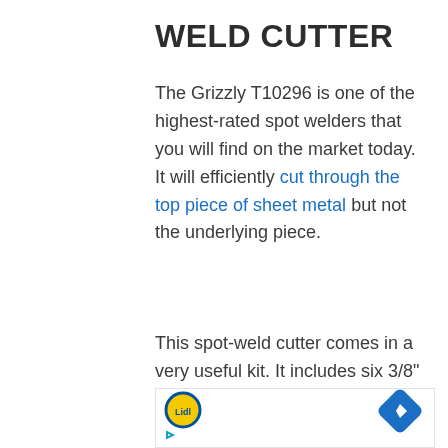WELD CUTTER
The Grizzly T10296 is one of the highest-rated spot welders that you will find on the market today. It will efficiently cut through the top piece of sheet metal but not the underlying piece.
This spot-weld cutter comes in a very useful kit. It includes six 3/8"
[Figure (other): Advertisement banner with Lidl logo on the left, a blue navigation arrow icon on the right, and a play button icon at bottom left.]